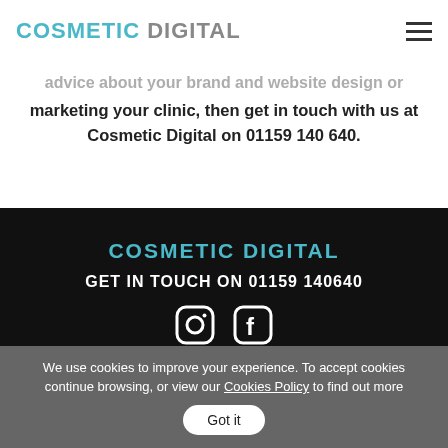COSMETIC DIGITAL
advice about your brand and website design or marketing your clinic, then get in touch with us at Cosmetic Digital on 01159 140 640.
[Figure (logo): Cosmetic Digital logo in teal/cyan on black footer background]
GET IN TOUCH ON 01159 140640
[Figure (illustration): Instagram and Facebook social media icons in white on black background]
We use cookies to improve your experience. To accept cookies continue browsing, or view our Cookies Policy to find out more  Got it